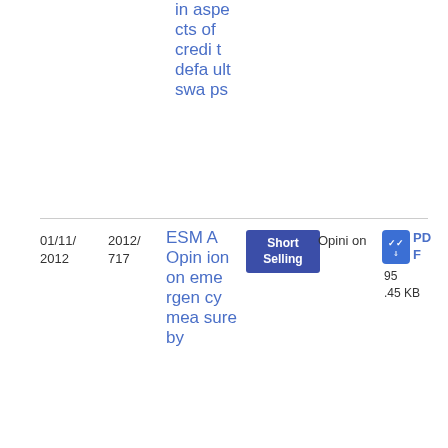in aspects of credit default swaps
| Date | Reference | Title | Category | Type | Download |
| --- | --- | --- | --- | --- | --- |
| 01/11/2012 | 2012/717 | ESMA Opinion on emergency measures by | Short Selling | Opinion | PDF 95.45 KB |